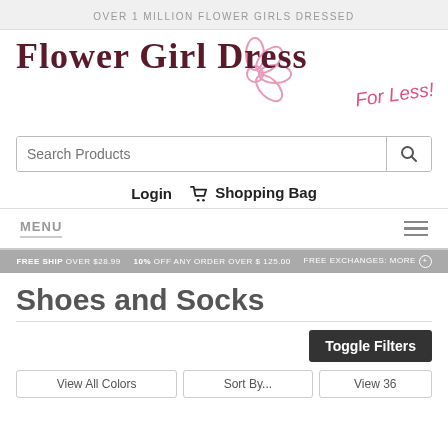OVER 1 MILLION FLOWER GIRLS DRESSED
[Figure (logo): Flower Girl Dress For Less! logo with pink flower illustration and dark red serif text]
Search Products
Login  Shopping Bag
MENU
FREE SHIP OVER $28.99   10% OFF ANY ORDER OVER $125.00   FREE EXCHANGES: more
Shoes and Socks
Toggle Filters
View All Colors   Sort By...   View 36